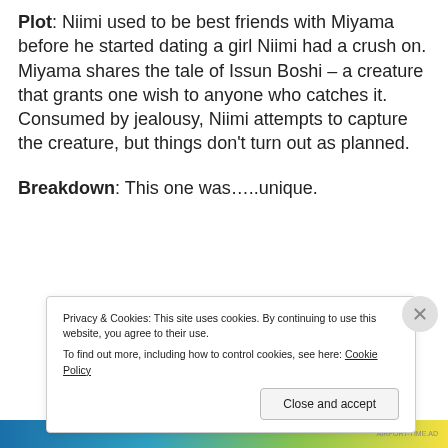Plot: Niimi used to be best friends with Miyama before he started dating a girl Niimi had a crush on. Miyama shares the tale of Issun Boshi – a creature that grants one wish to anyone who catches it. Consumed by jealousy, Niimi attempts to capture the creature, but things don't turn out as planned.
Breakdown: This one was…..unique.
Privacy & Cookies: This site uses cookies. By continuing to use this website, you agree to their use. To find out more, including how to control cookies, see here: Cookie Policy